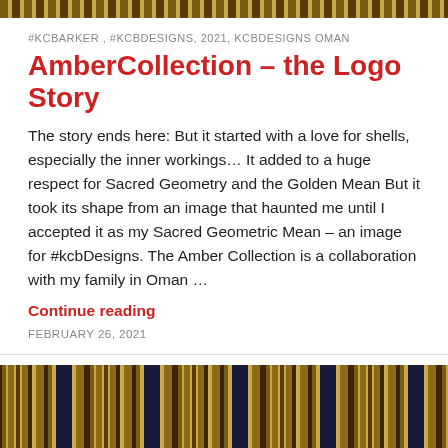[Figure (photo): Decorative fabric/textile strip at the top of the page with gold and brown woven patterns]
#KCBARKER , #KCBDESIGNS, 2021, KCBDESIGNS OMAN
AmberCollection – the Logo Story
The story ends here: But it started with a love for shells, especially the inner workings… It added to a huge respect for Sacred Geometry and the Golden Mean But it took its shape from an image that haunted me until I accepted it as my Sacred Geometric Mean – an image for #kcbDesigns. The Amber Collection is a collaboration with my family in Oman …
Continue reading
FEBRUARY 26, 2021
[Figure (photo): Close-up photo of decorative woven fabric/textile with gold, brown, and blue patterns including ornamental trims and braids]